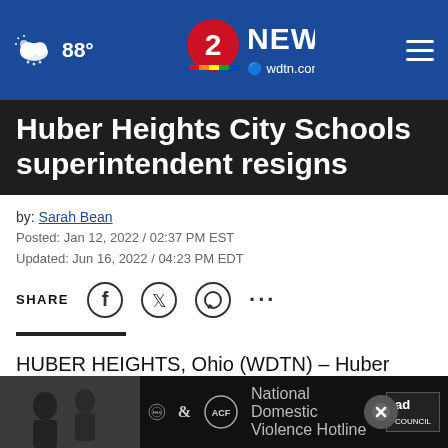88° | 2 NEWS wdtn.com
Huber Heights City Schools superintendent resigns
by: Sarah Bean
Posted: Jan 12, 2022 / 02:37 PM EST
Updated: Jun 16, 2022 / 04:23 PM EDT
SHARE
HUBER HEIGHTS, Ohio (WDTN) – Huber Heights City Schools superintendent Mario Basora has announced his resignation on Wednesday, January 12
[Figure (screenshot): Ad Council advertisement banner at the bottom of the page with black and white photo of children and ACF logos]